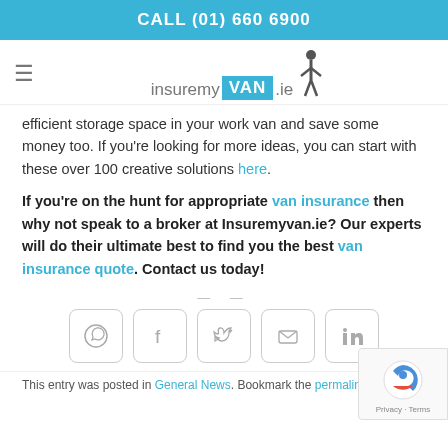CALL (01) 660 6900
[Figure (logo): insuremyVAN.ie logo with hamburger menu icon on left and walking figure SVG]
efficient storage space in your work van and save some money too. If you're looking for more ideas, you can start with these over 100 creative solutions here.
If you're on the hunt for appropriate van insurance then why not speak to a broker at Insuremyvan.ie? Our experts will do their ultimate best to find you the best van insurance quote. Contact us today!
[Figure (infographic): Row of 5 social sharing buttons: WhatsApp, Facebook, Twitter, Email, LinkedIn]
This entry was posted in General News. Bookmark the permalink